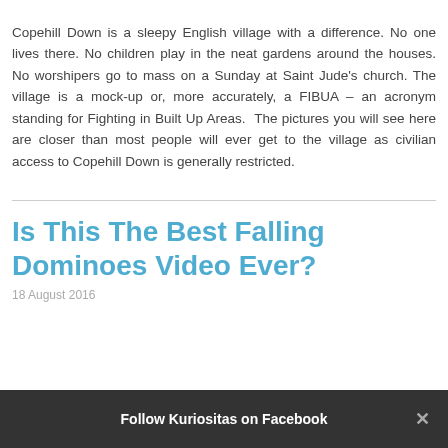Copehill Down is a sleepy English village with a difference. No one lives there. No children play in the neat gardens around the houses. No worshipers go to mass on a Sunday at Saint Jude's church. The village is a mock-up or, more accurately, a FIBUA – an acronym standing for Fighting in Built Up Areas. The pictures you will see here are closer than most people will ever get to the village as civilian access to Copehill Down is generally restricted.
Is This The Best Falling Dominoes Video Ever?
18 August 2016
Follow Kuriositas on Facebook